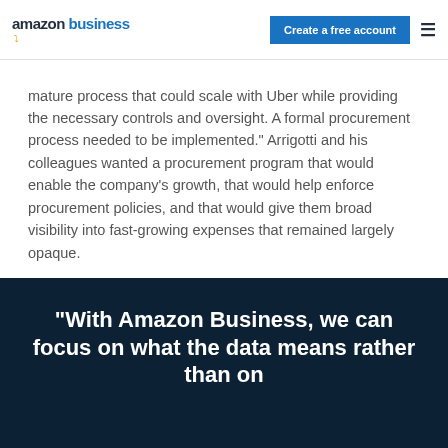amazon business | Create a free account
mature process that could scale with Uber while providing the necessary controls and oversight. A formal procurement process needed to be implemented." Arrigotti and his colleagues wanted a procurement program that would enable the company’s growth, that would help enforce procurement policies, and that would give them broad visibility into fast-growing expenses that remained largely opaque.
“With Amazon Business, we can focus on what the data means rather than on